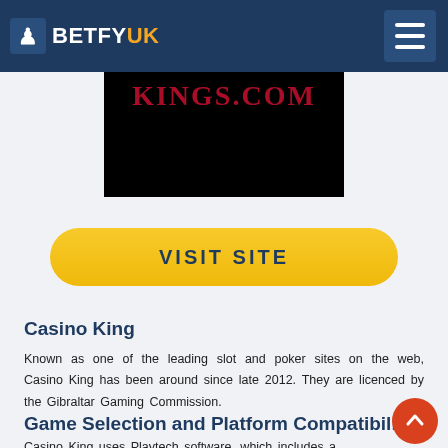BETFY UK
[Figure (screenshot): Casino Kings website logo — white and red text on black background showing 'KINGS.COM']
VISIT SITE
Casino King
Known as one of the leading slot and poker sites on the web, Casino King has been around since late 2012. They are licenced by the Gibraltar Gaming Commission.
Game Selection and Platform Compatibility
Casino King uses Playtech software, which includes a